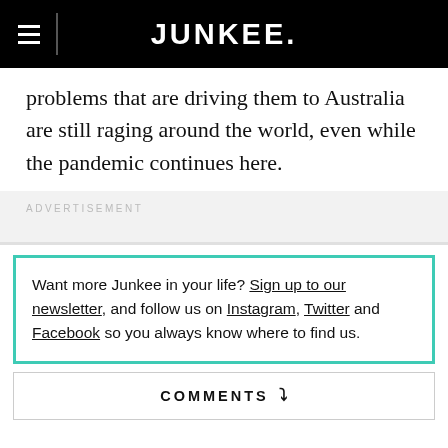JUNKEE.
problems that are driving them to Australia are still raging around the world, even while the pandemic continues here.
ADVERTISEMENT
Want more Junkee in your life? Sign up to our newsletter, and follow us on Instagram, Twitter and Facebook so you always know where to find us.
COMMENTS